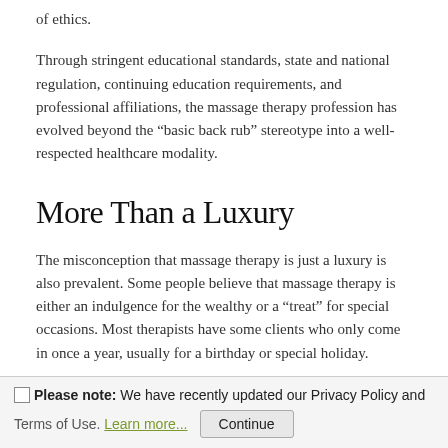of ethics.
Through stringent educational standards, state and national regulation, continuing education requirements, and professional affiliations, the massage therapy profession has evolved beyond the “basic back rub” stereotype into a well-respected healthcare modality.
More Than a Luxury
The misconception that massage therapy is just a luxury is also prevalent. Some people believe that massage therapy is either an indulgence for the wealthy or a “treat” for special occasions. Most therapists have some clients who only come in once a year, usually for a birthday or special holiday.
Please note: We have recently updated our Privacy Policy and Terms of Use. Learn more... Continue
others and make massage therapy a monthly massage session. These clients seem to think of massage therapy as a frivolity they don’t deserve. They will say “I try to explain the